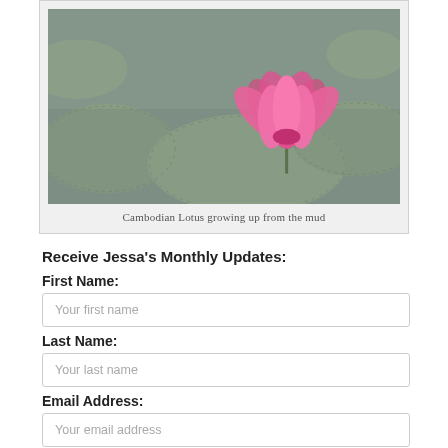[Figure (photo): A pink lotus flower blooming on a lily pad surrounded by water and other lily pads in Cambodia]
Cambodian Lotus growing up from the mud
Receive Jessa's Monthly Updates:
First Name:
Your first name
Last Name:
Your last name
Email Address:
Your email address